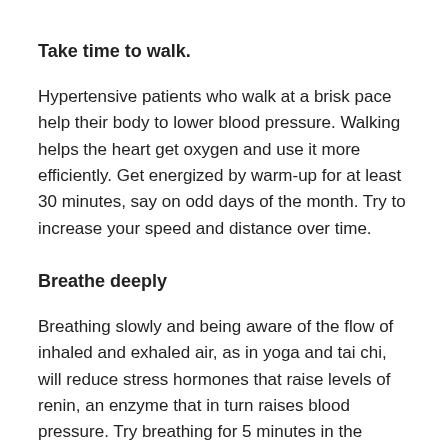Take time to walk.
Hypertensive patients who walk at a brisk pace help their body to lower blood pressure. Walking helps the heart get oxygen and use it more efficiently. Get energized by warm-up for at least 30 minutes, say on odd days of the month. Try to increase your speed and distance over time.
Breathe deeply
Breathing slowly and being aware of the flow of inhaled and exhaled air, as in yoga and tai chi, will reduce stress hormones that raise levels of renin, an enzyme that in turn raises blood pressure. Try breathing for 5 minutes in the morning, as you woke up and before bed.